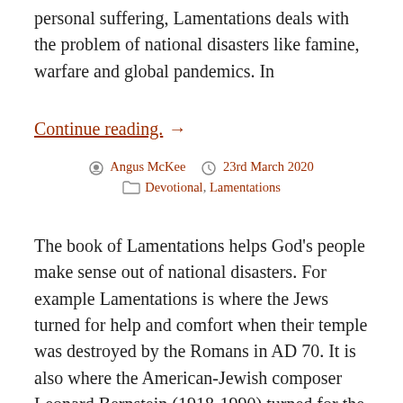personal suffering, Lamentations deals with the problem of national disasters like famine, warfare and global pandemics. In
Continue reading. →
Angus McKee   23rd March 2020   Devotional, Lamentations
The book of Lamentations helps God's people make sense out of national disasters. For example Lamentations is where the Jews turned for help and comfort when their temple was destroyed by the Romans in AD 70. It is also where the American-Jewish composer Leonard Bernstein (1918-1990) turned for the text of the last movement of